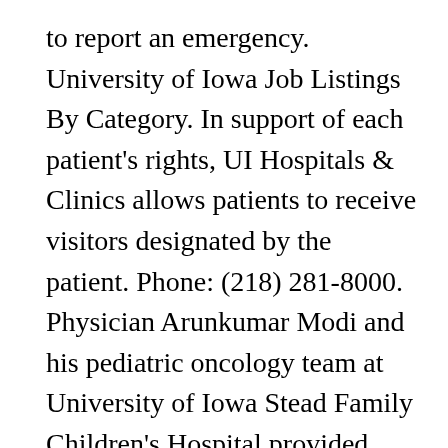to report an emergency. University of Iowa Job Listings By Category. In support of each patient's rights, UI Hospitals & Clinics allows patients to receive visitors designated by the patient. Phone: (218) 281-8000. Physician Arunkumar Modi and his pediatric oncology team at University of Iowa Stead Family Children's Hospital provided Nicholas' care and coordinated additional therapy in Philadelphia and Seattle. The ITS Help Desk walk-in area is open by appointment only. The Engineering Help Desk in 1256 SC is also an authorized CD check-out site for the Microsoft campus agreement. Core Values; Community Engagement; Diversity; Global Public Health;